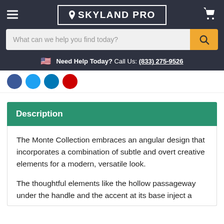SKYLAND PRO
What can we help you find today?
Need Help Today? Call Us: (833) 275-9526
Description
The Monte Collection embraces an angular design that incorporates a combination of subtle and overt creative elements for a modern, versatile look.
The thoughtful elements like the hollow passageway under the handle and the accent at its base inject a